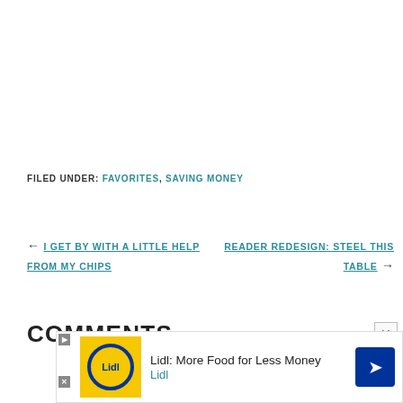FILED UNDER: FAVORITES, SAVING MONEY
← I GET BY WITH A LITTLE HELP FROM MY CHIPS
READER REDESIGN: STEEL THIS TABLE →
COMMENTS
[Figure (other): Lidl advertisement banner: yellow square with Lidl logo image, text 'Lidl: More Food for Less Money' and 'Lidl' subtitle, blue arrow icon on right, close button top right]